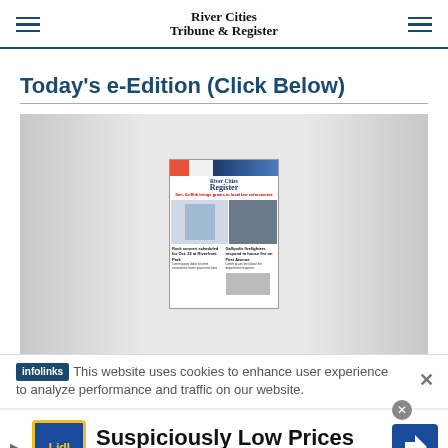River Cities Tribune & Register
Today's e-Edition (Click Below)
[Figure (screenshot): Thumbnail preview of a newspaper front page (River Cities Register) showing headlines about Sen. Griffith bringing grants to law enforcement and Gallipolis firefighters responding to a house fire on First Avenue, plus a concert story.]
This website uses cookies to enhance user experience to analyze performance and traffic on our website.
[Figure (illustration): Advertisement for Lidl grocery store: 'Suspiciously Low Prices' with Lidl logo and navigation arrow icon.]